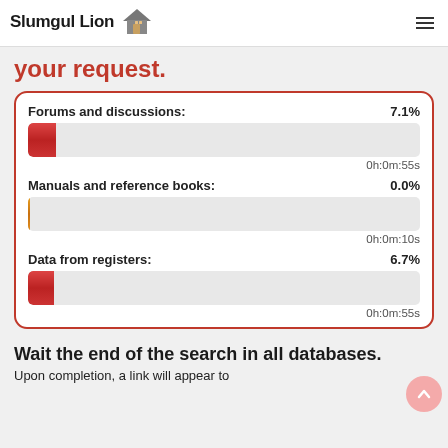Slumgul Lion [house icon]
your request.
[Figure (infographic): Progress tracking card with red border showing three progress bars: Forums and discussions 7.1% (0h:0m:55s), Manuals and reference books 0.0% (0h:0m:10s), Data from registers 6.7% (0h:0m:55s)]
Wait the end of the search in all databases.
Upon completion, a link will appear to